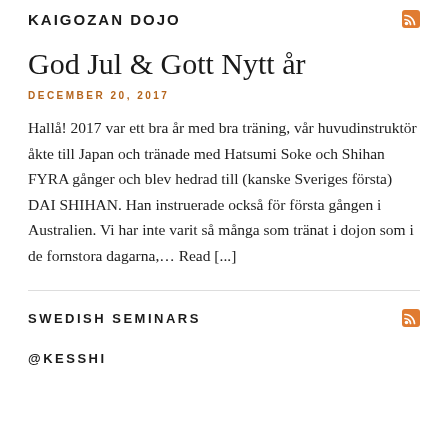KAIGOZAN DOJO
God Jul & Gott Nytt år
DECEMBER 20, 2017
Hallå! 2017 var ett bra år med bra träning, vår huvudinstruktör åkte till Japan och tränade med Hatsumi Soke och Shihan FYRA gånger och blev hedrad till (kanske Sveriges första) DAI SHIHAN. Han instruerade också för första gången i Australien. Vi har inte varit så många som tränat i dojon som i de fornstora dagarna,… Read [...]
SWEDISH SEMINARS
@KESSHI